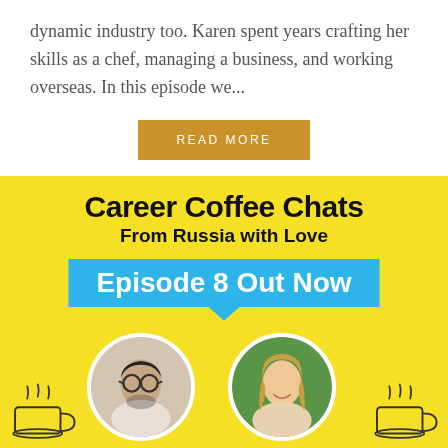dynamic industry too.  Karen spent years crafting her skills as a chef, managing a business, and working overseas.  In this episode we...
READ MORE
[Figure (infographic): Career Coffee Chats podcast promotional image with yellow background. Title: 'Career Coffee Chats From Russia with Love'. Blue badge: 'Episode 8 Out Now'. Two circular portrait photos of Andrew Tui and Anastasia Timoshkina with coffee cup illustrations on sides.]